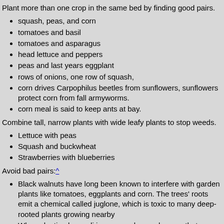Plant more than one crop in the same bed by finding good pairs.
squash, peas, and corn
tomatoes and basil
tomatoes and asparagus
head lettuce and peppers
peas and last years eggplant
rows of onions, one row of squash,
corn drives Carpophilus beetles from sunflowers, sunflowers protect corn from fall armyworms.
corn meal is said to keep ants at bay.
Combine tall, narrow plants with wide leafy plants to stop weeds.
Lettuce with peas
Squash and buckwheat
Strawberries with blueberries
Avoid bad pairs:^
Black walnuts have long been known to interfere with garden plants like tomatoes, eggplants and corn. The trees' roots emit a chemical called juglone, which is toxic to many deep-rooted plants growing nearby
When planting broccoli in your garden, make sure that you practice good crop rotation since broccoli can leave behind residue that lettuce and cruciferous crops (cool weather vegetables and have flowers that have four petals so that they